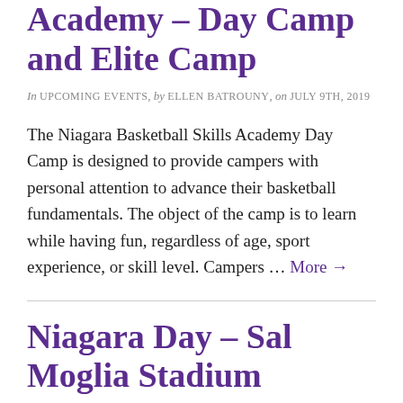Academy – Day Camp and Elite Camp
In UPCOMING EVENTS, by ELLEN BATROUNY, on JULY 9TH, 2019
The Niagara Basketball Skills Academy Day Camp is designed to provide campers with personal attention to advance their basketball fundamentals. The object of the camp is to learn while having fun, regardless of age, sport experience, or skill level. Campers … More →
Niagara Day – Sal Moglia Stadium